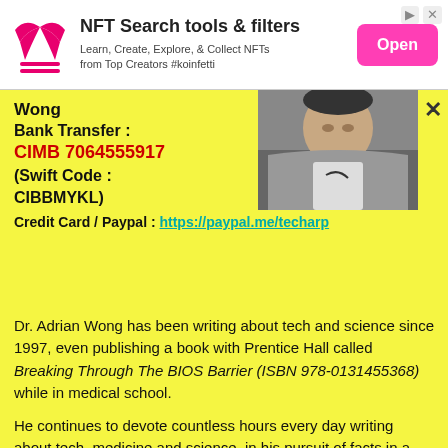[Figure (infographic): NFT Search tools and filters advertisement banner with logo, tagline, and pink Open button]
Wong
Bank Transfer :
CIMB 7064555917
(Swift Code : CIBBMYKL)
Credit Card / Paypal : https://paypal.me/techarp
[Figure (photo): Profile photo of a person wearing a grey hoodie, photographed from the neck up in a car]
Dr. Adrian Wong has been writing about tech and science since 1997, even publishing a book with Prentice Hall called Breaking Through The BIOS Barrier (ISBN 978-0131455368) while in medical school.
He continues to devote countless hours every day writing about tech, medicine and science, in his pursuit of facts in a post-truth world.